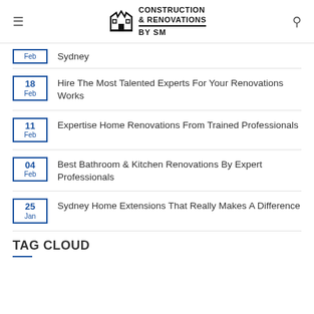Construction & Renovations By SM
Feb — Sydney
18 Feb — Hire The Most Talented Experts For Your Renovations Works
11 Feb — Expertise Home Renovations From Trained Professionals
04 Feb — Best Bathroom & Kitchen Renovations By Expert Professionals
25 Jan — Sydney Home Extensions That Really Makes A Difference
TAG CLOUD